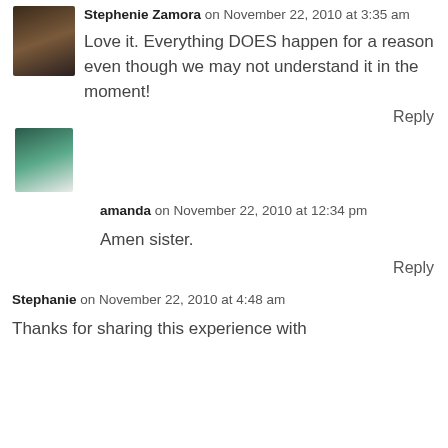Stephenie Zamora on November 22, 2010 at 3:35 am
Love it. Everything DOES happen for a reason even though we may not understand it in the moment!
Reply
amanda on November 22, 2010 at 12:34 pm
Amen sister.
Reply
Stephanie on November 22, 2010 at 4:48 am
Thanks for sharing this experience with